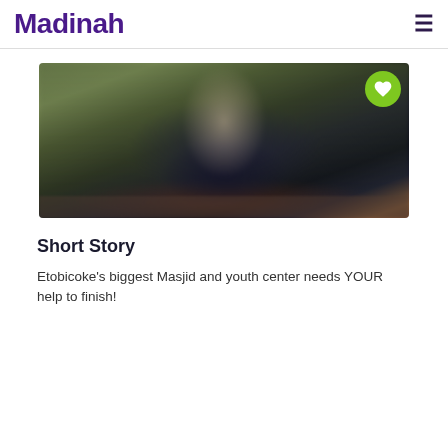Madinah
[Figure (photo): Blurred image of a person wearing a white head covering and dark clothing, with a green background, and a green circular heart/favorite button in the top-right corner.]
Short Story
Etobicoke's biggest Masjid and youth center needs YOUR help to finish!